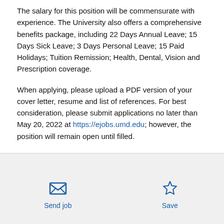The salary for this position will be commensurate with experience. The University also offers a comprehensive benefits package, including 22 Days Annual Leave; 15 Days Sick Leave; 3 Days Personal Leave; 15 Paid Holidays; Tuition Remission; Health, Dental, Vision and Prescription coverage.
When applying, please upload a PDF version of your cover letter, resume and list of references. For best consideration, please submit applications no later than May 20, 2022 at https://ejobs.umd.edu; however, the position will remain open until filled.
Send job | Save